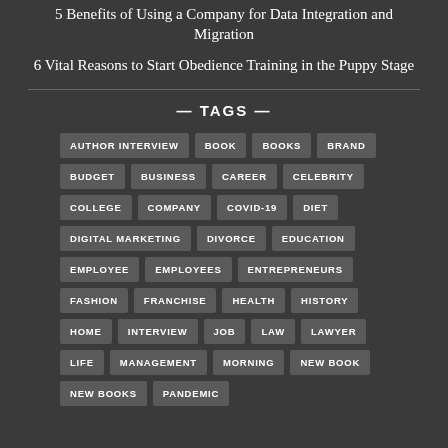5 Benefits of Using a Company for Data Integration and Migration
6 Vital Reasons to Start Obedience Training in the Puppy Stage
— TAGS —
AUTHOR INTERVIEW, BOOK, BOOKS, BRAND, BUDGET, BUSINESS, CAREER, CELEBRITY, COLLEGE, COMPANY, COVID-19, DIET, DIGITAL MARKETING, DIVORCE, EDUCATION, EMPLOYEE, EMPLOYEES, ENTREPRENEURS, FASHION, FRANCHISE, HEALTH, HISTORY, HOME, INTERVIEW, JOB, LAW, LAWYER, LIFE, MANAGEMENT, MORNING, NEW BOOK, NEW BOOKS, PANDEMIC